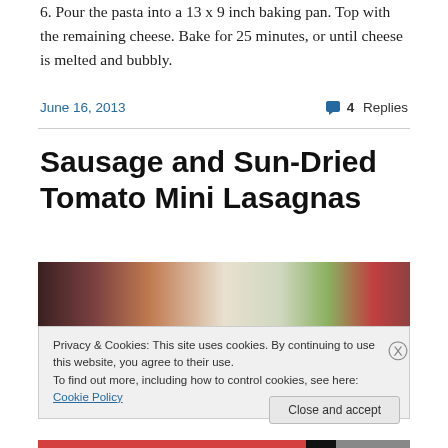6. Pour the pasta into a 13 x 9 inch baking pan. Top with the remaining cheese. Bake for 25 minutes, or until cheese is melted and bubbly.
June 16, 2013
4 Replies
Sausage and Sun-Dried Tomato Mini Lasagnas
[Figure (photo): Food photo showing a dish with sausage and sun-dried tomato mini lasagnas]
Privacy & Cookies: This site uses cookies. By continuing to use this website, you agree to their use.
To find out more, including how to control cookies, see here: Cookie Policy
Close and accept